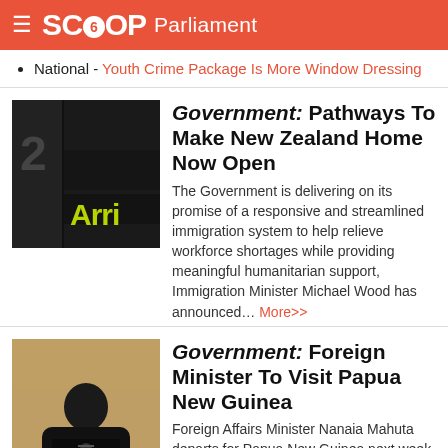SCOOP Parliament
National - Youth Crime Package Is More Window Dressing
Government: Pathways To Make New Zealand Home Now Open
The Government is delivering on its promise of a responsive and streamlined immigration system to help relieve workforce shortages while providing meaningful humanitarian support, Immigration Minister Michael Wood has announced... More>>
Government: Foreign Minister To Visit Papua New Guinea
Foreign Affairs Minister Nanaia Mahuta departs for Papua New Guinea next week to engage kanohi ki te kanohi with partners and visit key development initiatives in the region... More>>